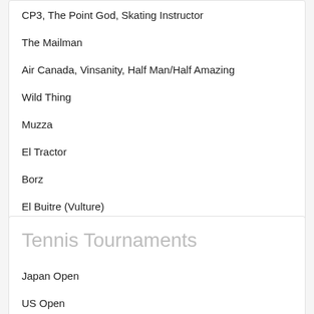CP3, The Point God, Skating Instructor
The Mailman
Air Canada, Vinsanity, Half Man/Half Amazing
Wild Thing
Muzza
El Tractor
Borz
El Buitre (Vulture)
Braveheart, Rino, Snarling Dog, Ringhio
Tennis Tournaments
Japan Open
US Open